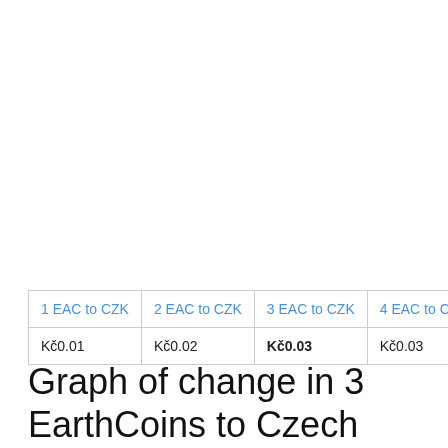| 1 EAC to CZK | 2 EAC to CZK | 3 EAC to CZK | 4 EAC to CZK | 5… |
| --- | --- | --- | --- | --- |
| Kč0.01 | Kč0.02 | Kč0.03 | Kč0.03 | … |
Graph of change in 3 EarthCoins to Czech Korunas